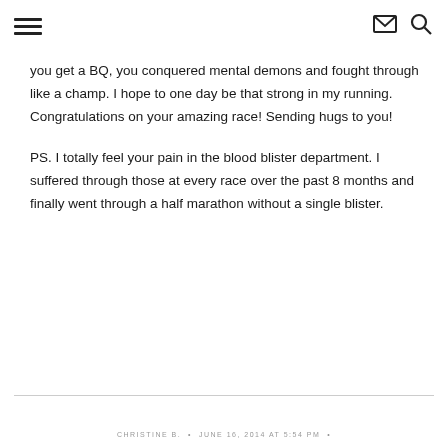☰ [envelope icon] [search icon]
you get a BQ, you conquered mental demons and fought through like a champ. I hope to one day be that strong in my running. Congratulations on your amazing race! Sending hugs to you!
PS. I totally feel your pain in the blood blister department. I suffered through those at every race over the past 8 months and finally went through a half marathon without a single blister.
CHRISTINE B. • JUNE 16, 2014 AT 5:54 PM •